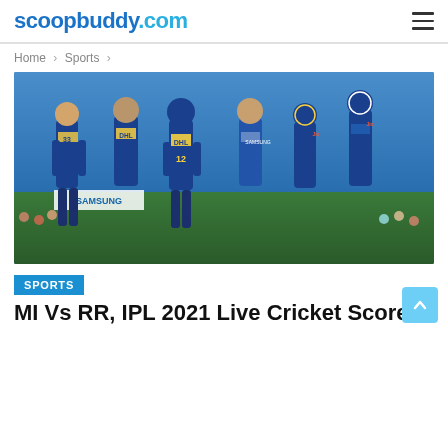scoopbuddy.com
Home > Sports >
[Figure (photo): Mumbai Indians cricket players in blue jerseys huddled together on the field during an IPL 2021 match, with DHL and Samsung sponsorship logos visible on jerseys and stadium boards.]
SPORTS
MI Vs RR, IPL 2021 Live Cricket Score...